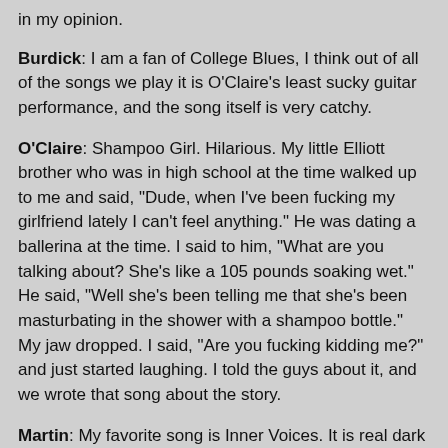in my opinion.
Burdick: I am a fan of College Blues, I think out of all of the songs we play it is O'Claire's least sucky guitar performance, and the song itself is very catchy.
O'Claire: Shampoo Girl. Hilarious. My little Elliott brother who was in high school at the time walked up to me and said, "Dude, when I've been fucking my girlfriend lately I can't feel anything." He was dating a ballerina at the time. I said to him, "What are you talking about? She's like a 105 pounds soaking wet." He said, "Well she's been telling me that she's been masturbating in the shower with a shampoo bottle." My jaw dropped. I said, "Are you fucking kidding me?" and just started laughing. I told the guys about it, and we wrote that song about the story.
Martin: My favorite song is Inner Voices. It is real dark and cool. We never play it though.
TST: Albums released? New releases coming out?
Burdick: Some text cut off at bottom...